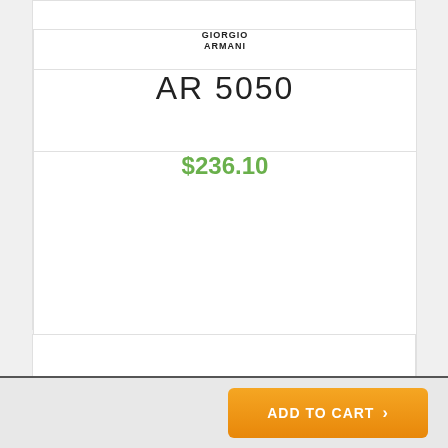[Figure (logo): Giorgio Armani brand logo, two-line stacked text]
AR 5050
$236.10
[Figure (photo): Black Giorgio Armani AR 7165 eyeglasses/spectacles with metal temples, side angle view]
[Figure (logo): Giorgio Armani brand logo, two-line stacked text]
AR 7165
ADD TO CART  >